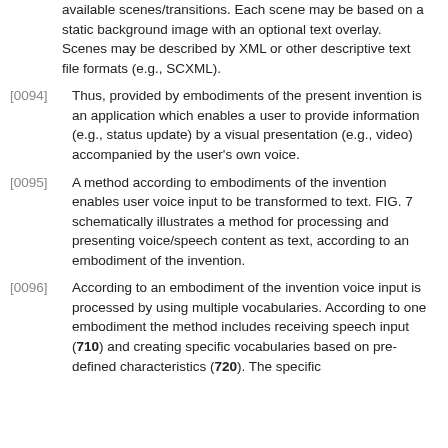available scenes/transitions. Each scene may be based on a static background image with an optional text overlay. Scenes may be described by XML or other descriptive text file formats (e.g., SCXML).
[0094] Thus, provided by embodiments of the present invention is an application which enables a user to provide information (e.g., status update) by a visual presentation (e.g., video) accompanied by the user's own voice.
[0095] A method according to embodiments of the invention enables user voice input to be transformed to text. FIG. 7 schematically illustrates a method for processing and presenting voice/speech content as text, according to an embodiment of the invention.
[0096] According to an embodiment of the invention voice input is processed by using multiple vocabularies. According to one embodiment the method includes receiving speech input (710) and creating specific vocabularies based on pre-defined characteristics (720). The specific